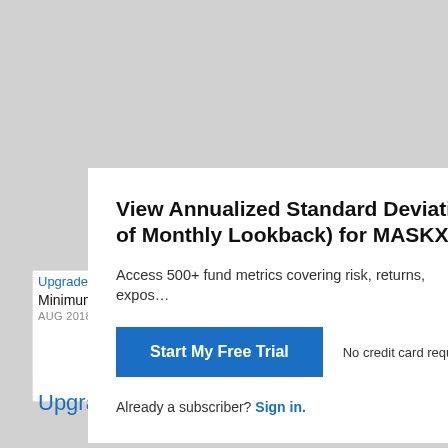View Annualized Standard Deviation of Monthly Lookback) for MASKX
Access 500+ fund metrics covering risk, returns, expos…
Start My Free Trial
No credit card required.
Already a subscriber? Sign in.
Minimum
AUG 2018
Maximum
JUL 2022
Upgrade
Upgrade